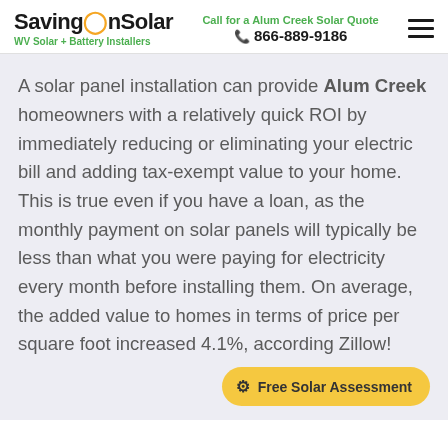SavingOnSolar — WV Solar + Battery Installers | Call for a Alum Creek Solar Quote | 866-889-9186
A solar panel installation can provide Alum Creek homeowners with a relatively quick ROI by immediately reducing or eliminating your electric bill and adding tax-exempt value to your home. This is true even if you have a loan, as the monthly payment on solar panels will typically be less than what you were paying for electricity every month before installing them. On average, the added value to homes in terms of price per square foot increased 4.1%, according Zillow!